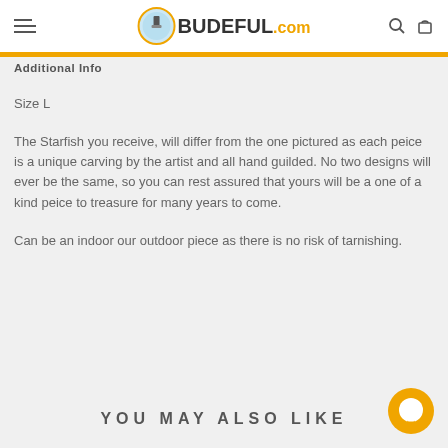BUDEFUL.COM
Additional Info
Size L
The Starfish you receive, will differ from the one pictured as each peice is a unique carving by the artist and all hand guilded. No two designs will ever be the same, so you can rest assured that yours will be a one of a kind peice to treasure for many years to come.
Can be an indoor our outdoor piece as there is no risk of tarnishing.
YOU MAY ALSO LIKE